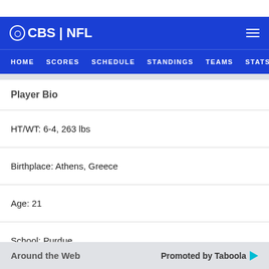CBS | NFL — HOME  SCORES  SCHEDULE  STANDINGS  TEAMS  STATS
Player Bio
HT/WT: 6-4, 263 lbs
Birthplace: Athens, Greece
Age: 21
School: Purdue
Around the Web    Promoted by Taboola